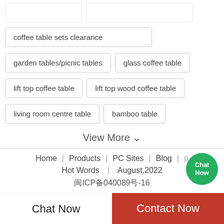coffee table sets clearance
garden tables/picnic tables
glass coffee table
lift top coffee table
lift top wood coffee table
living room centre table
bamboo table
View More ∨
Home | Products | PC Sites | Blog | Hot Words | August,2022 闽ICP备040089号-16
Chat Now
Contact Now